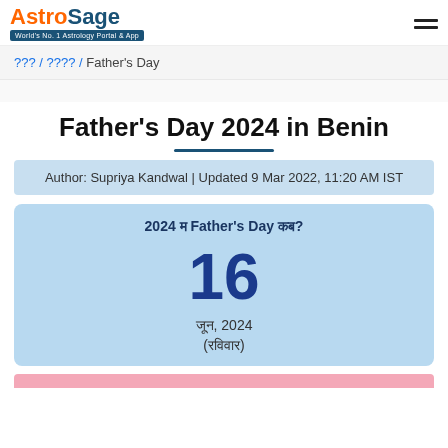AstroSage - World's No. 1 Astrology Portal & App
??? / ???? / Father's Day
Father's Day 2024 in Benin
Author: Supriya Kandwal | Updated 9 Mar 2022, 11:20 AM IST
2024 ? Father's Day ????
16
?????????, 2024
(????????)